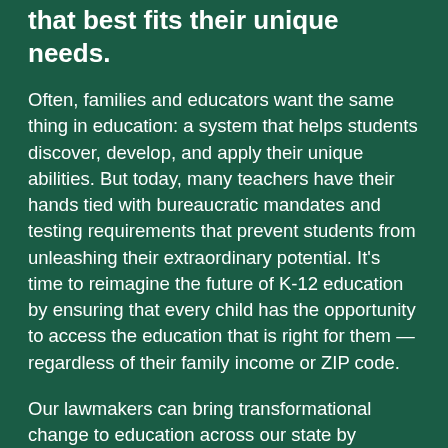that best fits their unique needs.
Often, families and educators want the same thing in education: a system that helps students discover, develop, and apply their unique abilities. But today, many teachers have their hands tied with bureaucratic mandates and testing requirements that prevent students from unleashing their extraordinary potential. It's time to reimagine the future of K-12 education by ensuring that every child has the opportunity to access the education that is right for them — regardless of their family income or ZIP code.
Our lawmakers can bring transformational change to education across our state by empowering families with the flexibility to determine how resources are